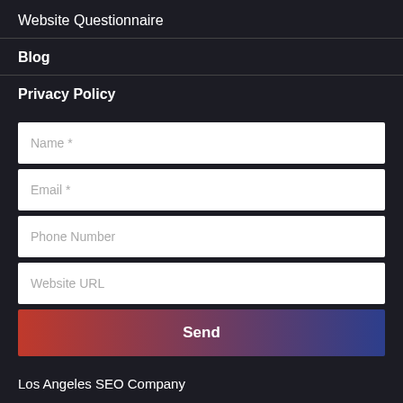Website Questionnaire
Blog
Privacy Policy
[Figure (screenshot): Web form with four input fields: Name *, Email *, Phone Number, Website URL, and a Send button with red-to-blue gradient]
Los Angeles SEO Company